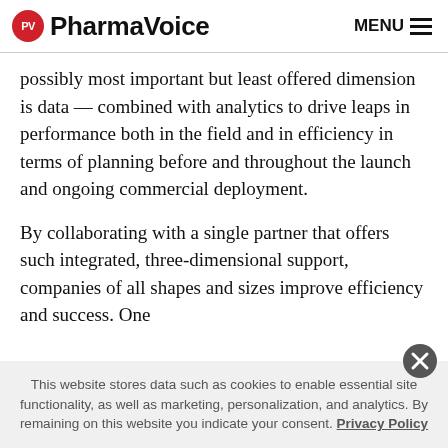PV PharmaVoice  MENU
possibly most important but least offered dimension is data — combined with analytics to drive leaps in performance both in the field and in efficiency in terms of planning before and throughout the launch and ongoing commercial deployment.
By collaborating with a single partner that offers such integrated, three-dimensional support, companies of all shapes and sizes improve efficiency and success. One
This website stores data such as cookies to enable essential site functionality, as well as marketing, personalization, and analytics. By remaining on this website you indicate your consent. Privacy Policy